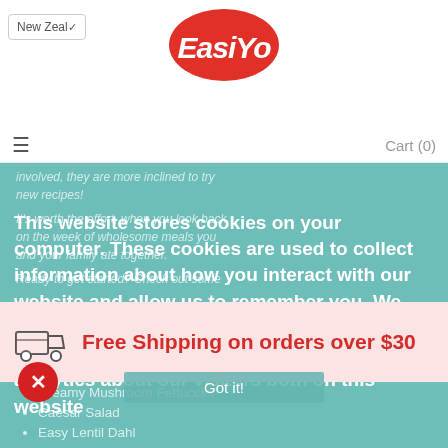New Zealand | EasiYo Logo
Cart (0)
involved, they are more inclined to try new recipes!
This website stores cookies on your computer. These cookies are used to collect information about how you interact with our website and allow us to remember you. We use this information in order to improve and customize your browsing experience and for analytics about our visitors both on this website
It's worth the effort, when you look back on the week of wholesome meals you and your family ate together.
Ready to get started? Check out some
[Figure (infographic): Free Shipping on orders over $30 banner with delivery truck icon]
Free Shipping on orders over $30
Got it!
Creamy Mushroom Fettuccini
Caesar Salad
Easy Lentil Dahl
Cheesy Beef Empanadas